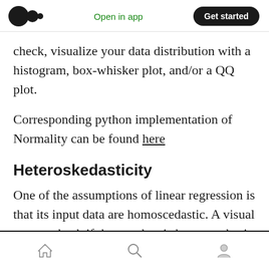Open in app | Get started
check, visualize your data distribution with a histogram, box-whisker plot, and/or a QQ plot.
Corresponding python implementation of Normality can be found here
Heteroskedasticity
One of the assumptions of linear regression is that its input data are homoscedastic. A visual way to check if the our data is homoscedastic is a scatter plot.
Home | Search | Profile